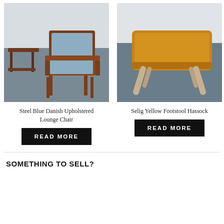[Figure (photo): Photo of a steel blue Danish upholstered lounge chair with wooden frame and a small side table, on a dark floor]
Steel Blue Danish Upholstered Lounge Chair
[Figure (photo): Photo of a Selig yellow leather footstool hassock with splayed wooden legs on a dark blue floor]
Selig Yellow Footstool Hassock
READ MORE
READ MORE
SOMETHING TO SELL?